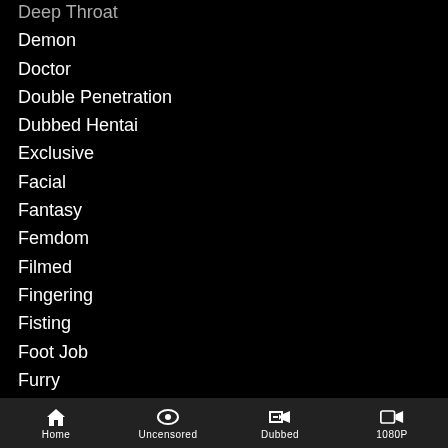Deep Throat
Demon
Doctor
Double Penetration
Dubbed Hentai
Exclusive
Facial
Fantasy
Femdom
Filmed
Fingering
Fisting
Foot Job
Furry
Futanari
Gangbang
Gender Bender
Home  Uncensored  Dubbed  1080P